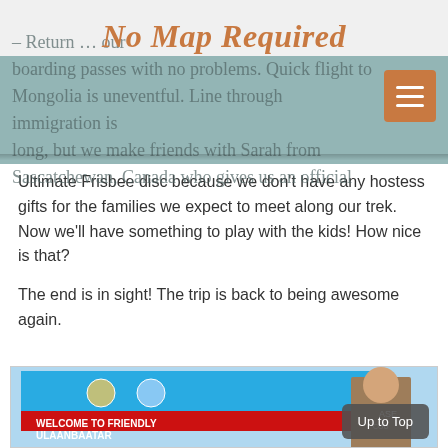No Map Required
– Return … our boarding passes with no problems. Quick flight to Mongolia is uneventful. Line through immigration is long, but we make friends with Sarah from Sascatchewan, Canada who gives us an official Ultimate Frisbee disc because we don't have any hostess gifts for the families we expect to meet along our trek. Now we'll have something to play with the kids! How nice is that?
The end is in sight! The trip is back to being awesome again.
[Figure (photo): Man standing in front of a Welcome to Friendly Ulaanbaatar banner at an airport or official building, with embassy/government logos visible on the banner.]